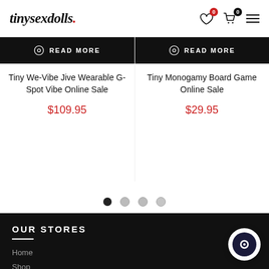tinysexdolls.
READ MORE
READ MORE
Tiny We-Vibe Jive Wearable G-Spot Vibe Online Sale
Tiny Monogamy Board Game Online Sale
$109.95
$29.95
OUR STORES
Home
Shop
Silicone Sex Dolls